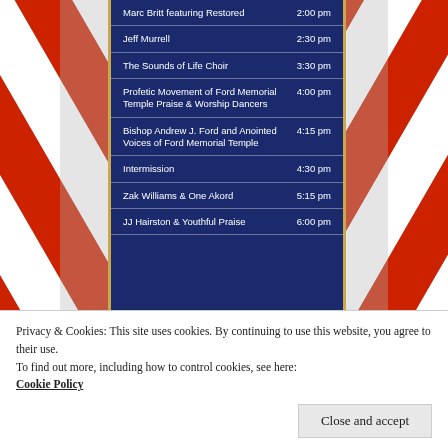[Figure (illustration): Event schedule poster with red and white striped decorative sides and a dark navy blue center panel listing performers with times. Decorative gold vertical borders on each side of the center panel.]
| Performer | Time |
| --- | --- |
| Marc Britt featuring Restored | 2:00 pm |
| Jeff Murrell | 2:30 pm |
| The Sounds of Life Choir | 3:30 pm |
| Profetic Movement of Ford Memorial Temple Praise & Worship Dancers | 4:00 pm |
| Bishop Andrew J. Ford and Anointed Voices of Ford Memorial Temple | 4:15 pm |
| Intermission | 4:30 pm |
| Zak Williams & One Akord | 5:15 pm |
| JJ Hairston & Youthful Praise | 6:00 pm |
Privacy & Cookies: This site uses cookies. By continuing to use this website, you agree to their use.
To find out more, including how to control cookies, see here: Cookie Policy
Close and accept